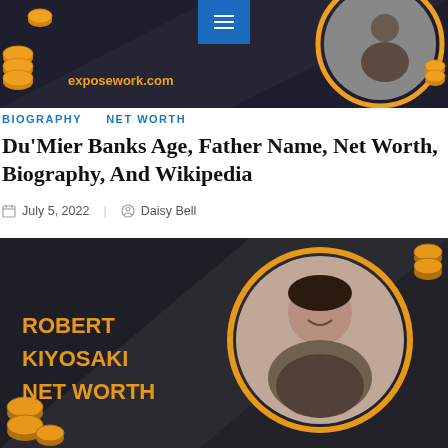[Figure (screenshot): Website header banner for exposework.com with dark background, gold coins, and circular photo frame. Menu hamburger button in blue at top center.]
BIOGRAPHY   NET WORTH
Du'Mier Banks Age, Father Name, Net Worth, Biography, And Wikipedia
July 5, 2022   Daisy Bell
[Figure (photo): Robert Kiyosaki Net Worth promotional image with dark background, gold coins decorations, and circular portrait photo of Robert Kiyosaki smiling.]